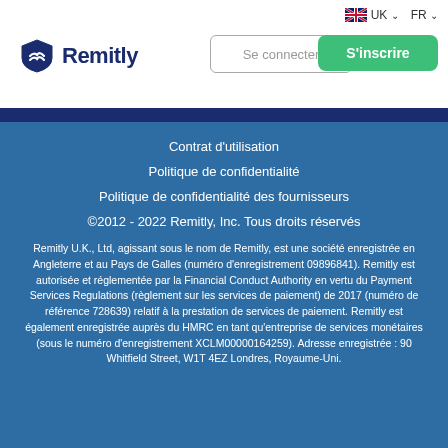UK  FR
[Figure (logo): Remitly logo with shield icon and bold navy text]
Se connecter
S'inscrire
Contrat d'utilisation
Politique de confidentialité
Politique de confidentialité des fournisseurs
©2012 - 2022 Remitly, Inc. Tous droits réservés
Remitly U.K., Ltd, agissant sous le nom de Remitly, est une société enregistrée en Angleterre et au Pays de Galles (numéro d'enregistrement 09896841). Remitly est autorisée et réglementée par la Financial Conduct Authority en vertu du Payment Services Regulations (règlement sur les services de paiement) de 2017 (numéro de référence 728639) relatif à la prestation de services de paiement. Remitly est également enregistrée auprès du HMRC en tant qu'entreprise de services monétaires (sous le numéro d'enregistrement XCLM00000164259). Adresse enregistrée : 90 Whitfield Street, W1T 4EZ Londres, Royaume-Uni.